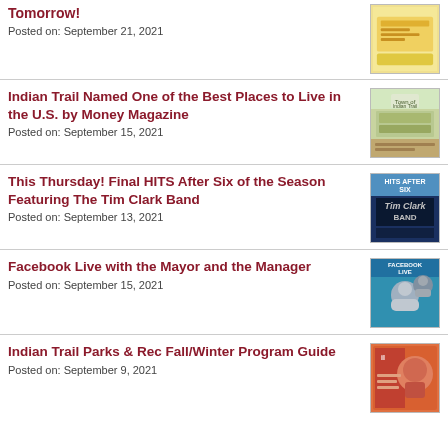Tomorrow!
Posted on: September 21, 2021
Indian Trail Named One of the Best Places to Live in the U.S. by Money Magazine
Posted on: September 15, 2021
This Thursday! Final HITS After Six of the Season Featuring The Tim Clark Band
Posted on: September 13, 2021
Facebook Live with the Mayor and the Manager
Posted on: September 15, 2021
Indian Trail Parks & Rec Fall/Winter Program Guide
Posted on: September 9, 2021